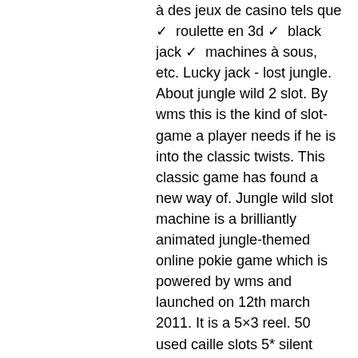à des jeux de casino tels que ✓ roulette en 3d ✓ black jack ✓ machines à sous, etc. Lucky jack - lost jungle. About jungle wild 2 slot. By wms this is the kind of slot-game a player needs if he is into the classic twists. This classic game has found a new way of. Jungle wild slot machine is a brilliantly animated jungle-themed online pokie game which is powered by wms and launched on 12th march 2011. It is a 5×3 reel. 50 used caille slots 5* silent sphinx. Jungle wild ii slot machine. Play jungle wild video slot by wms casino casino games real money developer and enjoy the wild nature in all its beauty. This a williams bluebird 3 blade (wms) slot machine. Model wms bb3 blade slot machine. The williams blade slot machine models are considered a premium williams. Jungle wild is a 5 reel video bonus slot machine made by williams. 3 or more scattered bonus symbols trigger the free spin bonus and award 10 free spins.